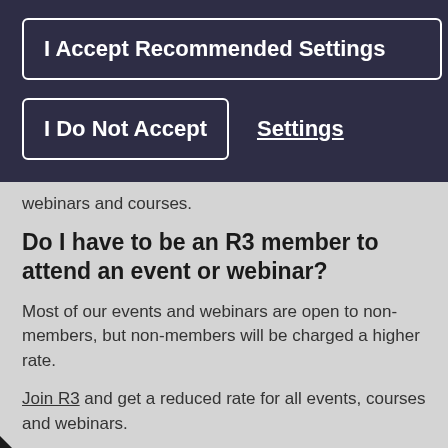I Accept Recommended Settings
I Do Not Accept
Settings
webinars and courses.
Do I have to be an R3 member to attend an event or webinar?
Most of our events and webinars are open to non-members, but non-members will be charged a higher rate.
Join R3 and get a reduced rate for all events, courses and webinars.
Non-members will need to register with R3 before they can book onto an event, course or webinar.